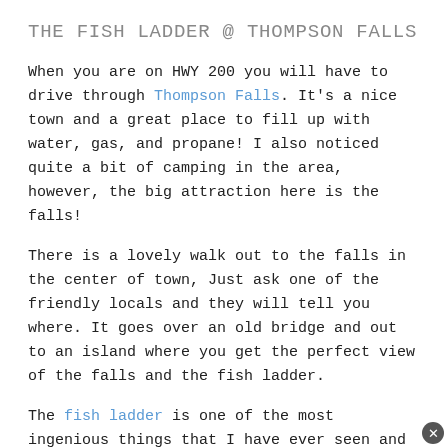THE FISH LADDER @ THOMPSON FALLS
When you are on HWY 200 you will have to drive through Thompson Falls. It's a nice town and a great place to fill up with water, gas, and propane! I also noticed quite a bit of camping in the area, however, the big attraction here is the falls!
There is a lovely walk out to the falls in the center of town, Just ask one of the friendly locals and they will tell you where. It goes over an old bridge and out to an island where you get the perfect view of the falls and the fish ladder.
The fish ladder is one of the most ingenious things that I have ever seen and was built to help the spawning fish to climb up the 75-foot dam. Basically, the fish congregate at the bottom of the ladder where they get pulled in. They travel up like 48 or so compartments before they get let off above the dam on the spawning upstream.